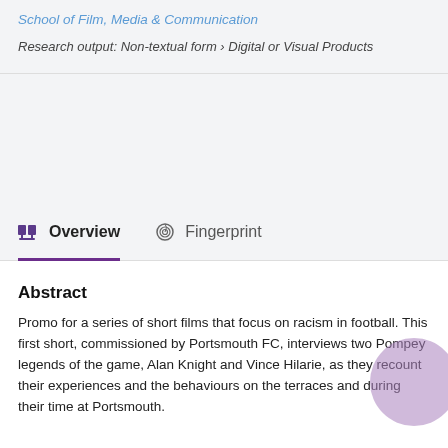School of Film, Media & Communication
Research output: Non-textual form › Digital or Visual Products
Overview
Fingerprint
Abstract
Promo for a series of short films that focus on racism in football. This first short, commissioned by Portsmouth FC, interviews two Pompey legends of the game, Alan Knight and Vince Hilarie, as they recount their experiences and the behaviours on the terraces and during their time at Portsmouth.